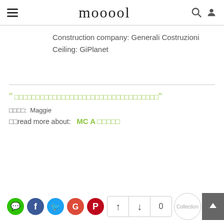mooool
Construction company: Generali Costruzioni
Ceiling: GiPlanet
" □□□□□□□□□□□□□□□□□□□□□□□□□□□□□□□□□□"
□□□□: Maggie
□□read more about: MC A □□□□□